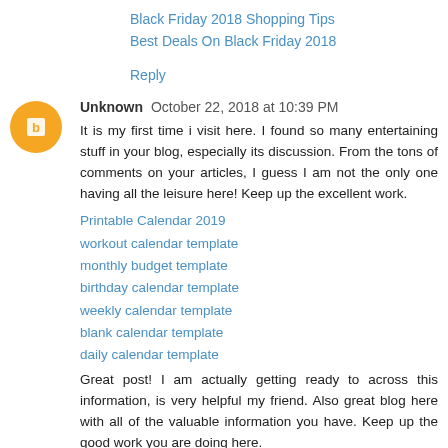Black Friday 2018 Shopping Tips
Best Deals On Black Friday 2018
Reply
Unknown  October 22, 2018 at 10:39 PM
It is my first time i visit here. I found so many entertaining stuff in your blog, especially its discussion. From the tons of comments on your articles, I guess I am not the only one having all the leisure here! Keep up the excellent work.
Printable Calendar 2019
workout calendar template
monthly budget template
birthday calendar template
weekly calendar template
blank calendar template
daily calendar template
Great post! I am actually getting ready to across this information, is very helpful my friend. Also great blog here with all of the valuable information you have. Keep up the good work you are doing here.